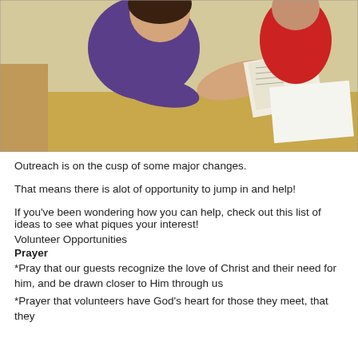[Figure (photo): A woman in a purple shirt sitting at a table reading or flipping through a book or journal. Another person in a red hoodie is visible in the background. Papers and documents are on the table.]
Outreach is on the cusp of some major changes.
That means there is alot of opportunity to jump in and help!
If you've been wondering how you can help, check out this list of ideas to see what piques your interest!
Volunteer Opportunities
Prayer
*Pray that our guests recognize the love of Christ and their need for him, and be drawn closer to Him through us
*Prayer that volunteers have God's heart for those they meet, that they